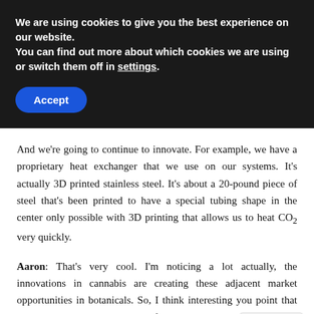We are using cookies to give you the best experience on our website.
You can find out more about which cookies we are using or switch them off in settings.
Accept
And we're going to continue to innovate. For example, we have a proprietary heat exchanger that we use on our systems. It's actually 3D printed stainless steel. It's about a 20-pound piece of steel that's been printed to have a special tubing shape in the center only possible with 3D printing that allows us to heat CO2 very quickly.
Aaron: That's very cool. I'm noticing a lot actually, the innovations in cannabis are creating these adjacent market opportunities in botanicals. So, I think interesting you point that out. You mentioned te are one of the things you collect out of the CO2